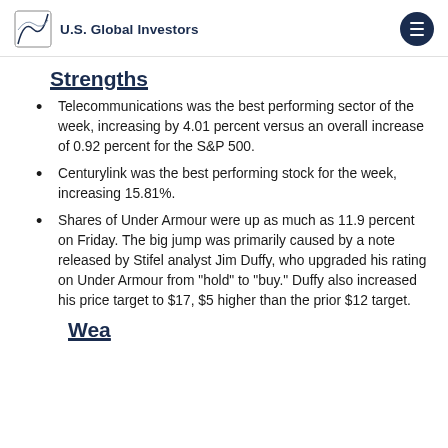U.S. Global Investors
Strengths
Telecommunications was the best performing sector of the week, increasing by 4.01 percent versus an overall increase of 0.92 percent for the S&P 500.
Centurylink was the best performing stock for the week, increasing 15.81%.
Shares of Under Armour were up as much as 11.9 percent on Friday. The big jump was primarily caused by a note released by Stifel analyst Jim Duffy, who upgraded his rating on Under Armour from "hold" to "buy." Duffy also increased his price target to $17, $5 higher than the prior $12 target.
Weaknesses